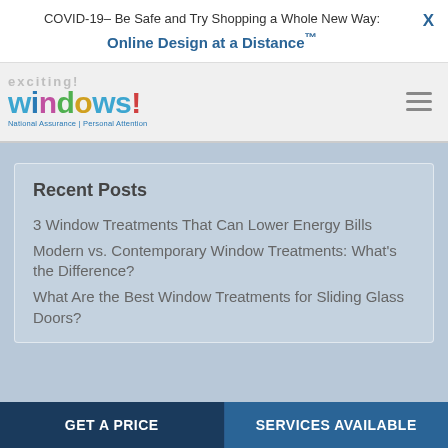COVID-19– Be Safe and Try Shopping a Whole New Way: Online Design at a Distance™
[Figure (logo): Exciting Windows! logo with colorful letters and tagline 'National Assurance | Personal Attention']
Recent Posts
3 Window Treatments That Can Lower Energy Bills
Modern vs. Contemporary Window Treatments: What's the Difference?
What Are the Best Window Treatments for Sliding Glass Doors?
GET A PRICE | SERVICES AVAILABLE